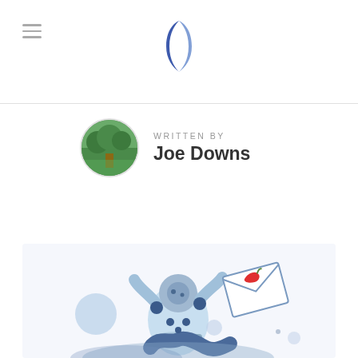Navigation header with hamburger menu and logo
WRITTEN BY
Joe Downs
[Figure (illustration): Cartoon astronaut character holding an envelope with a chili pepper, surrounded by blue circles and spheres, floating in space. Light blue color scheme.]